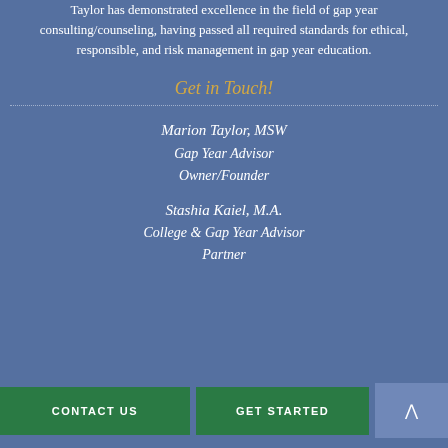Taylor has demonstrated excellence in the field of gap year consulting/counseling, having passed all required standards for ethical, responsible, and risk management in gap year education.
Get in Touch!
Marion Taylor, MSW
Gap Year Advisor
Owner/Founder
Stashia Kaiel, M.A.
College & Gap Year Advisor
Partner
CONTACT US
GET STARTED